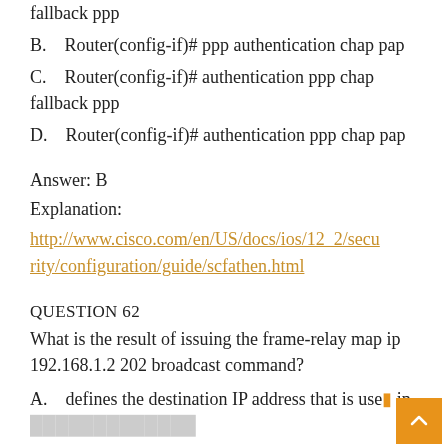fallback ppp
B.    Router(config-if)# ppp authentication chap pap
C.    Router(config-if)# authentication ppp chap fallback ppp
D.    Router(config-if)# authentication ppp chap pap
Answer: B
Explanation:
http://www.cisco.com/en/US/docs/ios/12_2/security/configuration/guide/scfathen.html
QUESTION 62
What is the result of issuing the frame-relay map ip 192.168.1.2 202 broadcast command?
A.    defines the destination IP address that is used in all frame-relay...